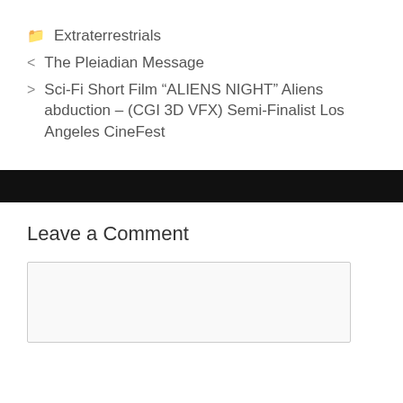Extraterrestrials
< The Pleiadian Message
> Sci-Fi Short Film “ALIENS NIGHT” Aliens abduction – (CGI 3D VFX) Semi-Finalist Los Angeles CineFest
Leave a Comment